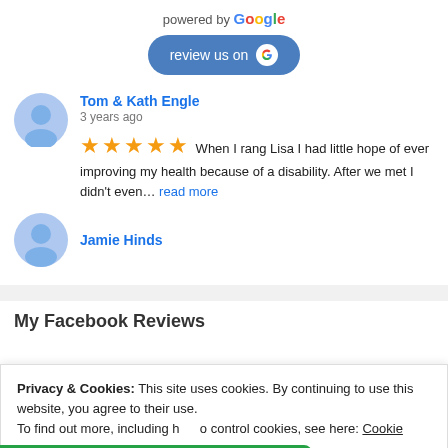powered by Google
[Figure (screenshot): Blue rounded button with text 'review us on' and Google G icon]
Tom & Kath Engle
3 years ago
When I rang Lisa I had little hope of ever improving my health because of a disability. After we met I didn't even... read more
Jamie Hinds
My Facebook Reviews
Privacy & Cookies: This site uses cookies. By continuing to use this website, you agree to their use. To find out more, including how to control cookies, see here: Cookie
Message Us on WhatsApp
Jade Marshall